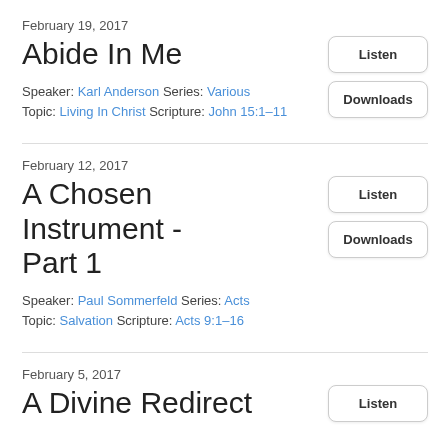February 19, 2017
Abide In Me
Speaker: Karl Anderson Series: Various Topic: Living In Christ Scripture: John 15:1–11
Listen
Downloads
February 12, 2017
A Chosen Instrument - Part 1
Speaker: Paul Sommerfeld Series: Acts Topic: Salvation Scripture: Acts 9:1–16
Listen
Downloads
February 5, 2017
A Divine Redirect
Listen